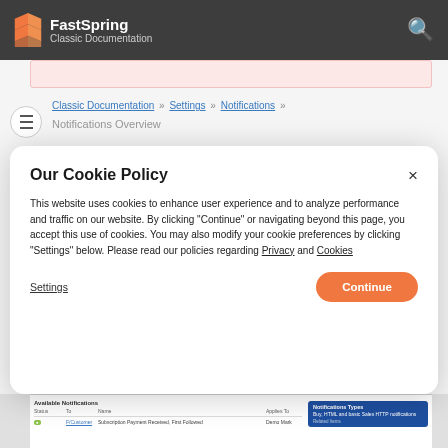FastSpring Classic Documentation
Classic Documentation » Settings » Notifications » Notifications Overview
Our Cookie Policy

This website uses cookies to enhance user experience and to analyze performance and traffic on our website. By clicking "Continue" or navigating beyond this page, you accept this use of cookies. You may also modify your cookie preferences by clicking "Settings" below. Please read our policies regarding Privacy and Cookies
Settings
Continue